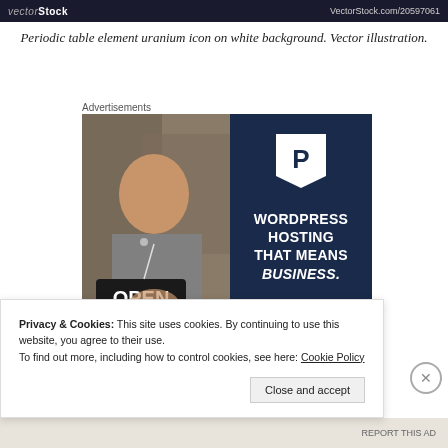vectorStock   VectorStock.com/20597061
Periodic table element uranium icon on white background. Vector illustration.
Advertisements
[Figure (photo): Advertisement banner: left half shows a woman smiling holding an OPEN sign in a shop window; right half is dark navy blue with a large white P logo (WordPress style) and bold white text reading WORDPRESS HOSTING THAT MEANS BUSINESS. with a call-to-action button outline at the bottom.]
Privacy & Cookies: This site uses cookies. By continuing to use this website, you agree to their use.
To find out more, including how to control cookies, see here: Cookie Policy
Close and accept